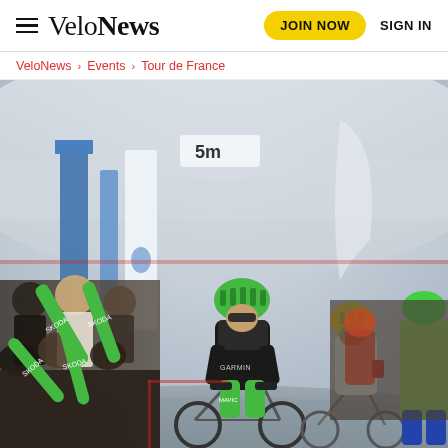VeloNews | JOIN NOW | SIGN IN
VeloNews > Events > Tour de France
[Figure (photo): Cyclists racing near finish line with crowd waving green Skoda inflatable sticks. Lead rider in green Cannondale-Garmin kit with green helmet, followed by rider in yellow helmet and white jersey, and others. Snowy mountain backdrop with finish line banners and flags.]